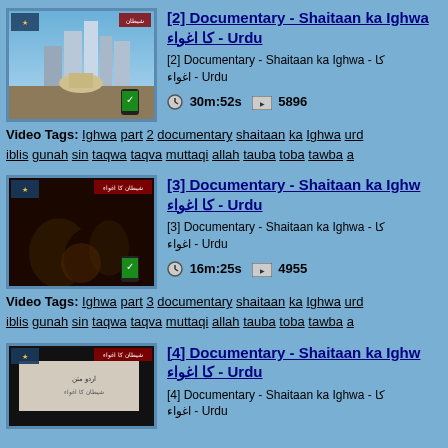[Figure (screenshot): Video thumbnail for Documentary [2] - city skyline with mosque]
[2] Documentary - Shaitaan ka Ighwa - کا اغواء - Urdu
[2] Documentary - Shaitaan ka Ighwa - کا - اغواء - Urdu
30m:52s   5896
Video Tags: Ighwa part 2 documentary shaitaan ka Ighwa urd iblis gunah sin taqwa taqva muttaqi allah tauba toba tawba a
[Figure (screenshot): Video thumbnail for Documentary [3] - dark scene]
[3] Documentary - Shaitaan ka Ighwa - کا اغواء - Urdu
[3] Documentary - Shaitaan ka Ighwa - کا - اغواء - Urdu
16m:25s   4955
Video Tags: Ighwa part 3 documentary shaitaan ka Ighwa urd iblis gunah sin taqwa taqva muttaqi allah tauba toba tawba a
[Figure (screenshot): Video thumbnail for Documentary [4] - dark scene with Urdu text]
[4] Documentary - Shaitaan ka Ighwa - کا اغواء - Urdu
[4] Documentary - Shaitaan ka Ighwa - کا - اغواء - Urdu